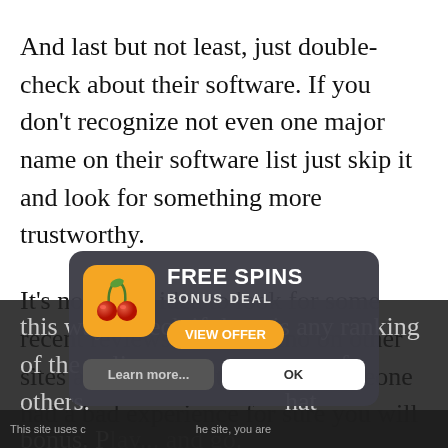And last but not least, just double-check about their software. If you don't recognize not even one major name on their software list just skip it and look for something more trustworthy.
It's not a bad idea to look for some recent reviews of the casino on other sites and social platforms. If someone had a bad experience for sure you will hear about it this way. Check if there is any ranking of the online casino on these sites. Others. Bonus. Play... and go...
[Figure (infographic): A popup advertisement overlay showing a cherry slot machine icon with 'FREE SPINS BONUS DEAL' text and a 'VIEW OFFER' orange button. Below are 'Learn more' and 'OK' buttons on a dark background overlay.]
This site uses cookies. By continuing to use the site, you are agreeing to our use of cookies.